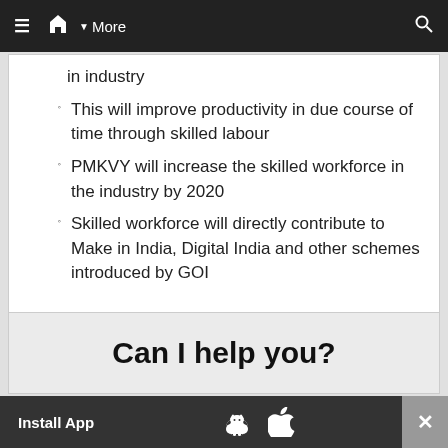≡  🏠 ▼ More    🔍
in industry
This will improve productivity in due course of time through skilled labour
PMKVY will increase the skilled workforce in the industry by 2020
Skilled workforce will directly contribute to Make in India, Digital India and other schemes introduced by GOI
Can I help you?
Install App  [Android] [Apple]  ✕